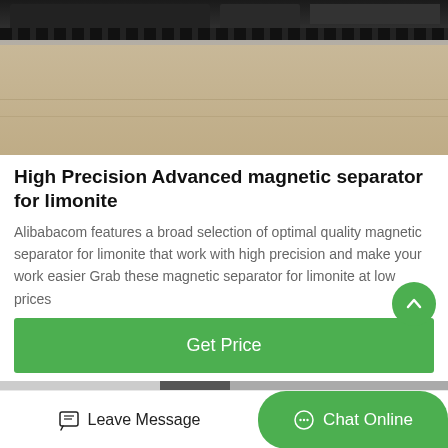[Figure (photo): Outdoor industrial machinery (appears to be a large magnetic separator or mining equipment on tracks) parked on a sandy/concrete ground area. Dark machinery visible at top, tan/sandy ground fills lower portion.]
High Precision Advanced magnetic separator for limonite
Alibabacom features a broad selection of optimal quality magnetic separator for limonite that work with high precision and make your work easier Grab these magnetic separator for limonite at low prices
Get Price
Leave Message
Chat Online